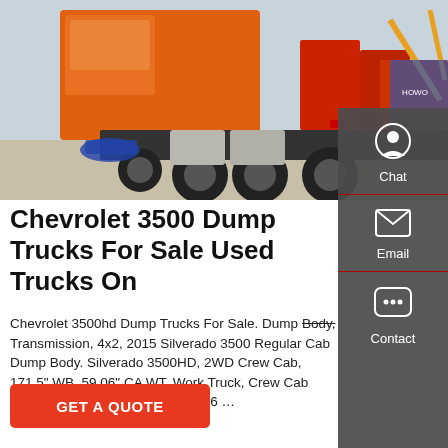[Figure (photo): Orange heavy dump truck/tractor unit photographed from rear-side angle in a truck lot, with multiple red trucks in background]
Chevrolet 3500 Dump Trucks For Sale Used Trucks On
Chevrolet 3500hd Dump Trucks For Sale. Dump Body, Transmission, 4x2, 2015 Silverado 3500 Regular Cab Dump Body. Silverado 3500HD, 2WD Crew Cab, 171.5" WB, 59.06" CA WT, Work Truck, Crew Cab Chassis-Cab, Introducing the 2016 …
GET A QUOTE